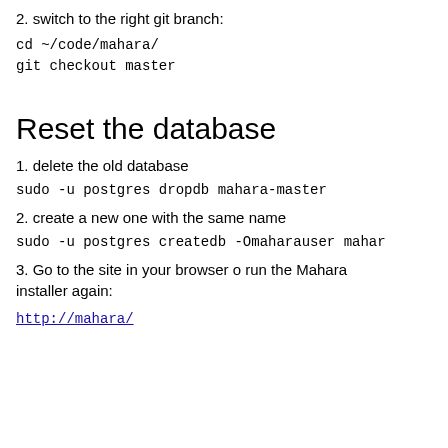2. switch to the right git branch:
cd ~/code/mahara/
git checkout master
Reset the database
1. delete the old database
sudo -u postgres dropdb mahara-master
2. create a new one with the same name
sudo -u postgres createdb -Omaharauser mahar
3. Go to the site in your browser o run the Mahara installer again:
http://mahara/